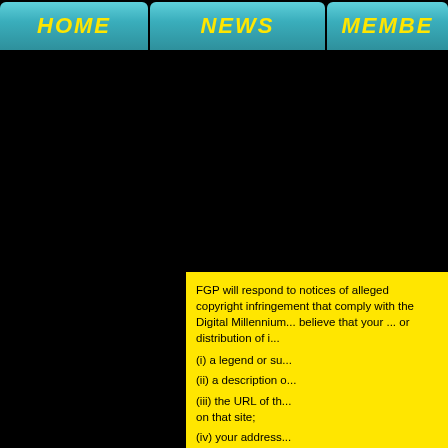HOME | NEWS | MEMBE...
FGP will respond to notices of alleged copyright infringement that comply with the Digital Millennium... believe that your ... or distribution of i...
(i) a legend or su...
(ii) a description o...
(iii) the URL of th... on that site;
(iv) your address...